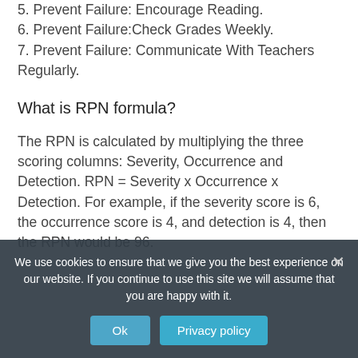5. Prevent Failure: Encourage Reading.
6. Prevent Failure:Check Grades Weekly.
7. Prevent Failure: Communicate With Teachers Regularly.
What is RPN formula?
The RPN is calculated by multiplying the three scoring columns: Severity, Occurrence and Detection. RPN = Severity x Occurrence x Detection. For example, if the severity score is 6, the occurrence score is 4, and detection is 4, then the RPN would be 96.
We use cookies to ensure that we give you the best experience on our website. If you continue to use this site we will assume that you are happy with it.